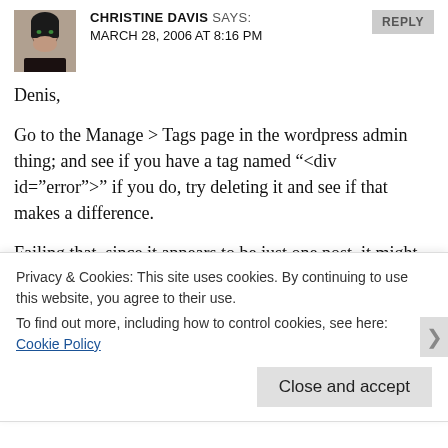[Figure (photo): Profile photo of Christine Davis, a woman with dark hair and green eyes, cropped head and shoulders shot]
CHRISTINE DAVIS SAYS:
MARCH 28, 2006 AT 8:16 PM
REPLY
Denis,
Go to the Manage > Tags page in the wordpress admin thing; and see if you have a tag named "<div id="error">" if you do, try deleting it and see if that makes a difference.
Failing that, since it appears to be just one post, it might be worth having a nosey at it, to see if there's something weird going on with it in the edit page for it (e.g. if there's an error displaying somewhere).
Privacy & Cookies: This site uses cookies. By continuing to use this website, you agree to their use.
To find out more, including how to control cookies, see here: Cookie Policy
Close and accept